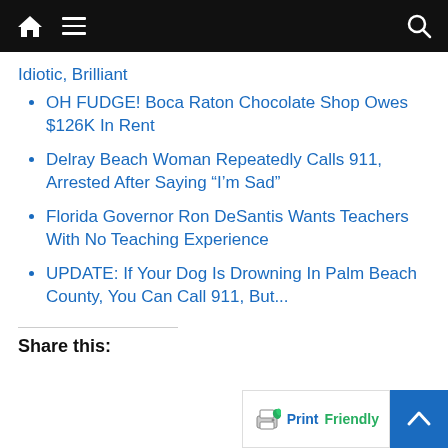Navigation bar with home, menu, and search icons
Idiotic, Brilliant
OH FUDGE! Boca Raton Chocolate Shop Owes $126K In Rent
Delray Beach Woman Repeatedly Calls 911, Arrested After Saying “I’m Sad”
Florida Governor Ron DeSantis Wants Teachers With No Teaching Experience
UPDATE: If Your Dog Is Drowning In Palm Beach County, You Can Call 911, But...
Share this: